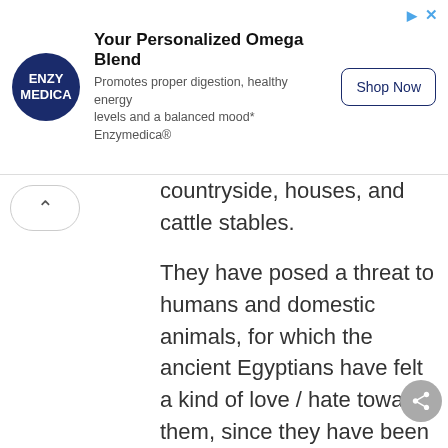[Figure (other): Enzymedica advertisement banner: logo on left, headline 'Your Personalized Omega Blend', subtitle 'Promotes proper digestion, healthy energy levels and a balanced mood* Enzymedica®', and 'Shop Now' button on right]
countryside, houses, and cattle stables.
They have posed a threat to humans and domestic animals, for which the ancient Egyptians have felt a kind of love / hate towards them, since they have been considered as protection to the King and at the same time a demon of the underworld.
A papyrus found in the Brooklyn Museum reveals that the ancient Egyptians had an intimate knowledge of snakes; in six species are recorded